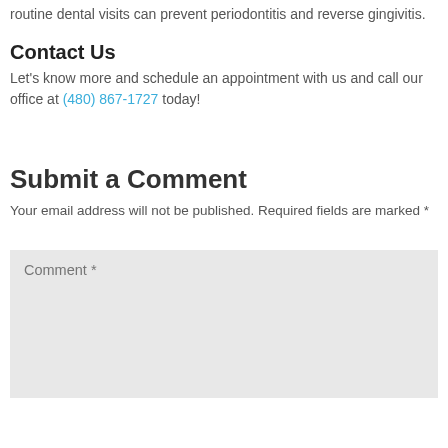routine dental visits can prevent periodontitis and reverse gingivitis.
Contact Us
Let's know more and schedule an appointment with us and call our office at (480) 867-1727 today!
Submit a Comment
Your email address will not be published. Required fields are marked *
Comment *